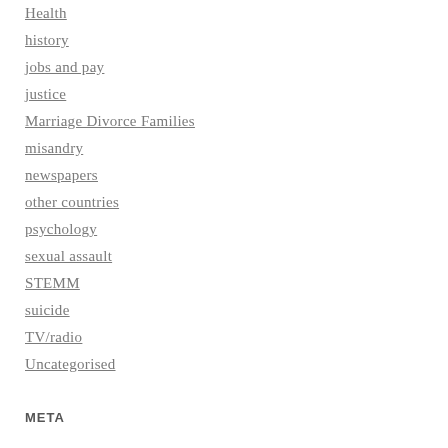Health
history
jobs and pay
justice
Marriage Divorce Families
misandry
newspapers
other countries
psychology
sexual assault
STEMM
suicide
TV/radio
Uncategorised
META
Log in